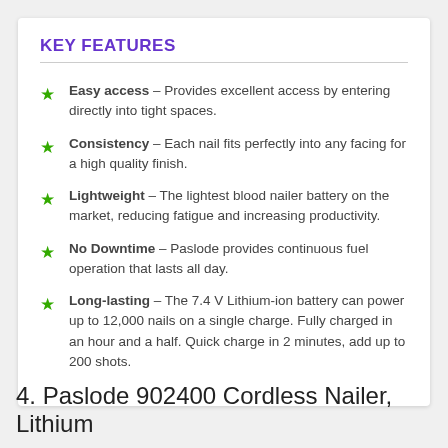KEY FEATURES
Easy access – Provides excellent access by entering directly into tight spaces.
Consistency – Each nail fits perfectly into any facing for a high quality finish.
Lightweight – The lightest blood nailer battery on the market, reducing fatigue and increasing productivity.
No Downtime – Paslode provides continuous fuel operation that lasts all day.
Long-lasting – The 7.4 V Lithium-ion battery can power up to 12,000 nails on a single charge. Fully charged in an hour and a half. Quick charge in 2 minutes, add up to 200 shots.
4. Paslode 902400 Cordless Nailer, Lithium